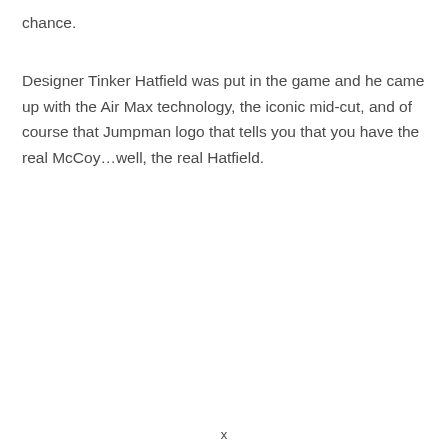chance.
Designer Tinker Hatfield was put in the game and he came up with the Air Max technology, the iconic mid-cut, and of course that Jumpman logo that tells you that you have the real McCoy…well, the real Hatfield.
x